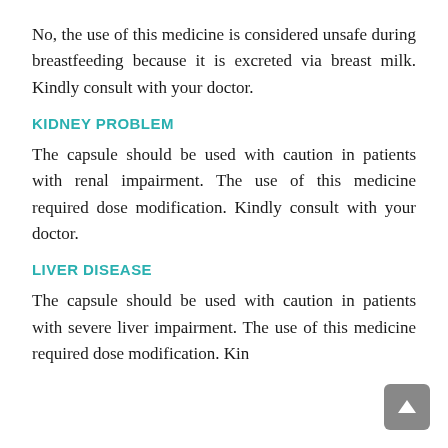No, the use of this medicine is considered unsafe during breastfeeding because it is excreted via breast milk. Kindly consult with your doctor.
KIDNEY PROBLEM
The capsule should be used with caution in patients with renal impairment. The use of this medicine required dose modification. Kindly consult with your doctor.
LIVER DISEASE
The capsule should be used with caution in patients with severe liver impairment. The use of this medicine required dose modification. Kin